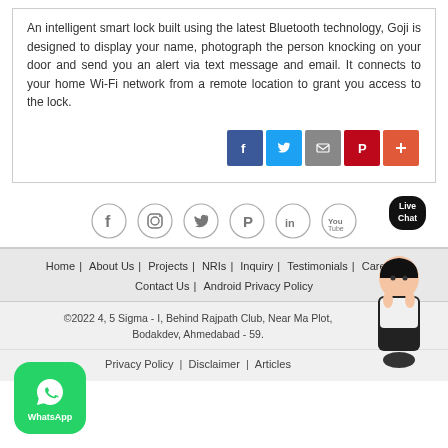An intelligent smart lock built using the latest Bluetooth technology, Goji is designed to display your name, photograph the person knocking on your door and send you an alert via text message and email. It connects to your home Wi-Fi network from a remote location to grant you access to the lock.
[Figure (infographic): Social share buttons: Facebook (blue), Twitter (light blue), Email (gray), Pinterest (red), Plus (orange-red)]
[Figure (infographic): Social media circle icon links: Facebook, Instagram, Twitter, Pinterest, LinkedIn, YouTube]
Home | About Us | Projects | NRIs | Inquiry | Testimonials | Career | Contact Us | Android Privacy Policy
©2022 4, 5 Sigma - I, Behind Rajpath Club, Near Ma... Plot, Bodakdev, Ahmedabad - 59.
Privacy Policy | Disclaimer | Articles